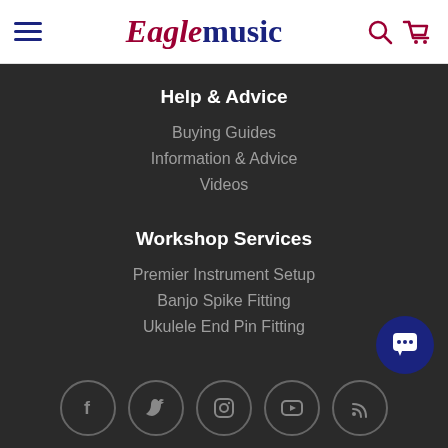Eagle music
Help & Advice
Buying Guides
Information & Advice
Videos
Workshop Services
Premier Instrument Setup
Banjo Spike Fitting
Ukulele End Pin Fitting
[Figure (other): Social media icons row: Facebook, Twitter, Instagram, YouTube, RSS feed — circular outlined buttons in gray]